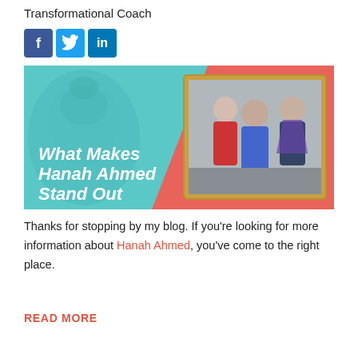Transformational Coach
[Figure (illustration): Social media icons: Facebook (blue square with f), Twitter (light blue square with bird), LinkedIn (dark blue square with 'in')]
[Figure (infographic): Banner image with teal/coral background, Buddha head silhouette on left, photo of three people seated (two women and one man) on right, white italic bold text reading 'What Makes Hanah Ahmed Stand Out']
Thanks for stopping by my blog. If you're looking for more information about Hanah Ahmed, you've come to the right place.
READ MORE